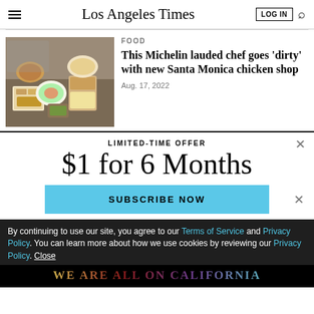Los Angeles Times
FOOD
This Michelin lauded chef goes 'dirty' with new Santa Monica chicken shop
Aug. 17, 2022
[Figure (photo): Food spread with fried chicken, fries, salads, and various dishes on a wooden table]
LIMITED-TIME OFFER
$1 for 6 Months
SUBSCRIBE NOW
By continuing to use our site, you agree to our Terms of Service and Privacy Policy. You can learn more about how we use cookies by reviewing our Privacy Policy. Close
WE ARE ALL ON CALIFORNIA